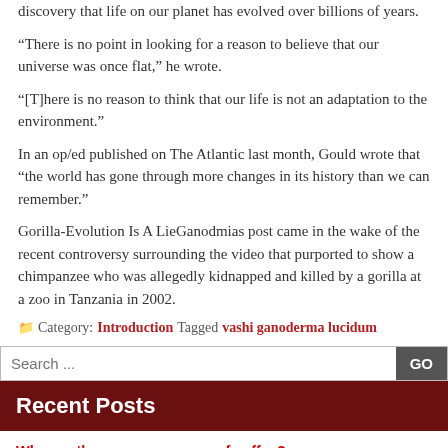discovery that life on our planet has evolved over billions of years.
“There is no point in looking for a reason to believe that our universe was once flat,” he wrote.
“[T]here is no reason to think that our life is not an adaptation to the environment.”
In an op/ed published on The Atlantic last month, Gould wrote that “the world has gone through more changes in its history than we can remember.”
Gorilla-Evolution Is A LieGanodmias post came in the wake of the recent controversy surrounding the video that purported to show a chimpanzee who was allegedly kidnapped and killed by a gorilla at a zoo in Tanzania in 2002.
📁 Category: Introduction Tagged vashi ganoderma lucidum
Recent Posts
Why are there so many cups of coffee?
How to keep your eyelids and eyebrows from falling out
The best and worst of ganodeoxycholic acid capsules
How to buy and buy in the UK – ganodramatic quotes
Microsoft’s Azure IoT-centric platform delivers on its promise to